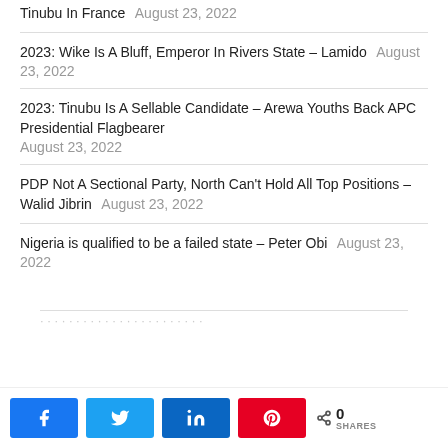Tinubu In France August 23, 2022
2023: Wike Is A Bluff, Emperor In Rivers State – Lamido August 23, 2022
2023: Tinubu Is A Sellable Candidate – Arewa Youths Back APC Presidential Flagbearer August 23, 2022
PDP Not A Sectional Party, North Can't Hold All Top Positions – Walid Jibrin August 23, 2022
Nigeria is qualified to be a failed state – Peter Obi August 23, 2022
Share buttons: Facebook, Twitter, LinkedIn, Pinterest | 0 SHARES